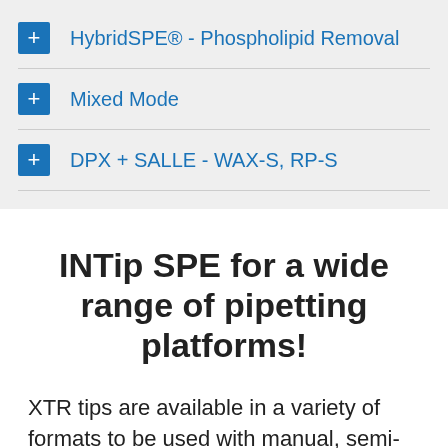+ HybridSPE® - Phospholipid Removal
+ Mixed Mode
+ DPX + SALLE - WAX-S, RP-S
INTip SPE for a wide range of pipetting platforms!
XTR tips are available in a variety of formats to be used with manual, semi-automated or fully automated liquid